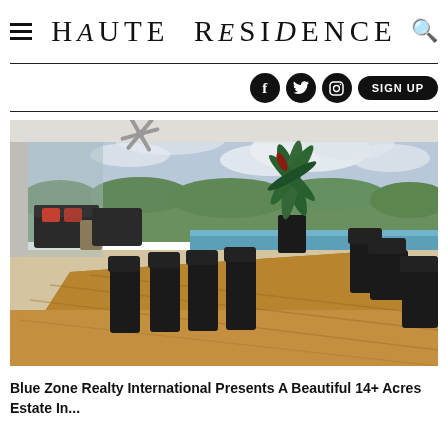Haute Residence
[Figure (photo): Luxury villa open-air dining area with a large wooden dining table, black chairs, tropical plant centerpiece, infinity pool in the background, lush jungle and cloudy sky view, ceiling fan visible, modern architecture]
Blue Zone Realty International Presents A Beautiful 14+ Acres Estate In...